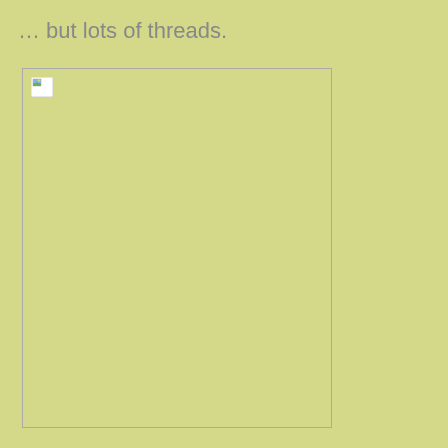… but lots of threads.
[Figure (other): A broken/missing image placeholder inside a rectangular border box, with a small broken image icon in the top-left corner.]